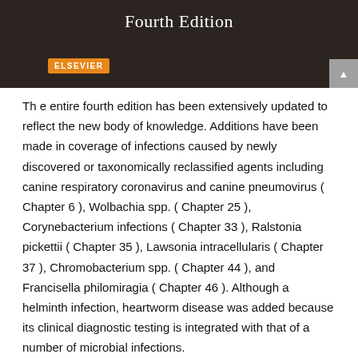Fourth Edition
[Figure (logo): Elsevier publisher logo — orange rectangle with white text 'ELSEVIER']
Th e entire fourth edition has been extensively updated to reflect the new body of knowledge. Additions have been made in coverage of infections caused by newly discovered or taxonomically reclassified agents including canine respiratory coronavirus and canine pneumovirus ( Chapter 6 ), Wolbachia spp. ( Chapter 25 ), Corynebacterium infections ( Chapter 33 ), Ralstonia pickettii ( Chapter 35 ), Lawsonia intracellularis ( Chapter 37 ), Chromobacterium spp. ( Chapter 44 ), and Francisella philomiragia ( Chapter 46 ). Although a helminth infection, heartworm disease was added because its clinical diagnostic testing is integrated with that of a number of microbial infections.